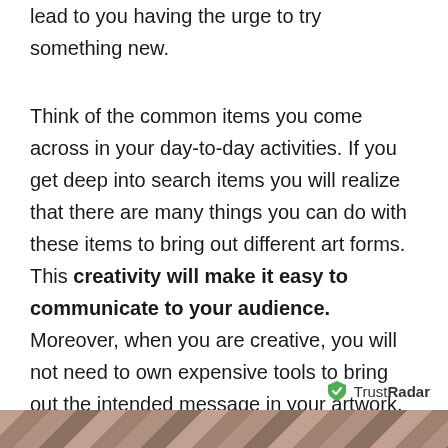lead to you having the urge to try something new.
Think of the common items you come across in your day-to-day activities. If you get deep into search items you will realize that there are many things you can do with these items to bring out different art forms. This creativity will make it easy to communicate to your audience. Moreover, when you are creative, you will not need to own expensive tools to bring out the intended message in your artwork. It will come out naturally.
[Figure (logo): TrustRadar logo with green shield icon]
[Figure (illustration): Decorative chevron/zigzag patterned strip at bottom of page in earthy tones]